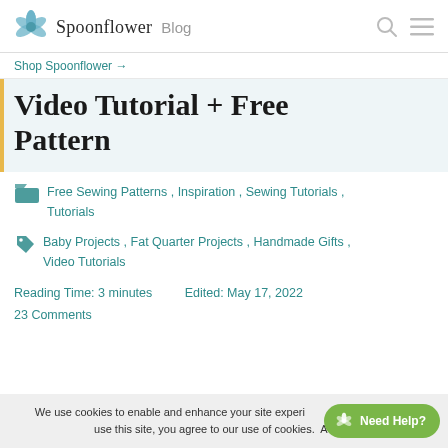Spoonflower Blog
Shop Spoonflower →
Video Tutorial + Free Pattern
Free Sewing Patterns, Inspiration, Sewing Tutorials, Tutorials
Baby Projects, Fat Quarter Projects, Handmade Gifts, Video Tutorials
Reading Time: 3 minutes   Edited: May 17, 2022
23 Comments
We use cookies to enable and enhance your site experience. By continuing to use this site, you agree to our use of cookies.